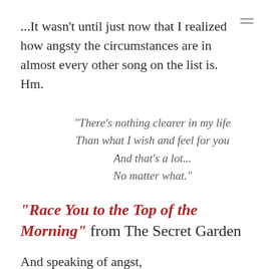...It wasn't until just now that I realized how angsty the circumstances are in almost every other song on the list is. Hm.
“There’s nothing clearer in my life
Than what I wish and feel for you
And that’s a lot...
No matter what.”
“Race You to the Top of the Morning” from The Secret Garden
And speaking of angst,